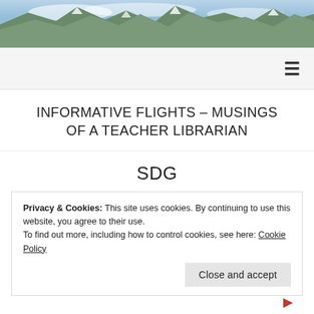[Figure (photo): Mountain landscape hero image with snow-capped peaks and cloudy sky]
≡
INFORMATIVE FLIGHTS – MUSINGS OF A TEACHER LIBRARIAN
SDG
May – Presentation & Panel Month
Privacy & Cookies: This site uses cookies. By continuing to use this website, you agree to their use.
To find out more, including how to control cookies, see here: Cookie Policy
Close and accept